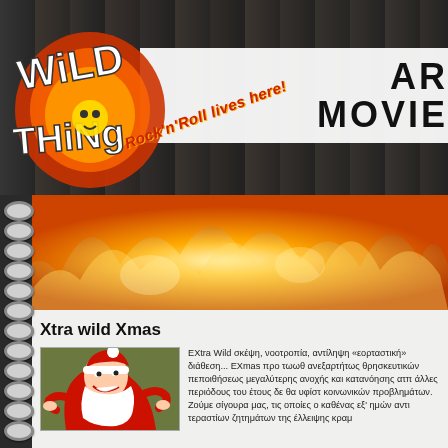[Figure (logo): Wild Thing logo with orange/red graffiti style letters and skull, on dark background with music celebrity photo collage. Text 'Rock'n'Roll lives here!' in curved orange italic text.]
[Figure (photo): Orange and yellow flame photograph filling the lower portion of the header banner area.]
Xtra wild Xmas
[Figure (illustration): Cartoon illustration of a wild-looking Santa Claus with a large red cape/coat, wild expression, on olive/green background.]
EXtra Wild σκέψη, νοοτροπία, αντίληψη «εορταστική» διάθεση... EXmas προ τωωθ ανεξαρτήτως θρησκευτικών πεποιθήσεως μεγαλύτερης ανοχής και κατανόησης ατπ άλλες περιόδους του έτους δε θα υφίστ κοινωνικών προβλημάτων. Ζούμε σίγουρα μας, τις οποίες ο καθένας εξ' ημών αντι τεραστίων ζητημάτων της έλλειψης κραμ